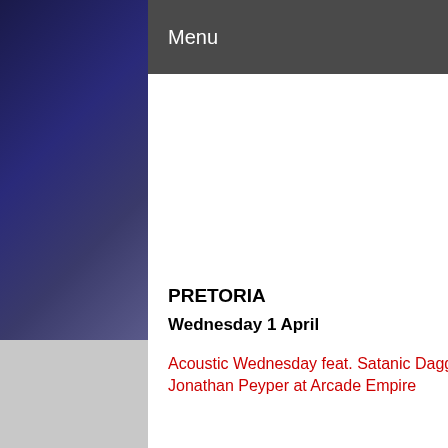Menu   Search
PRETORIA
Wednesday 1 April
Acoustic Wednesday feat. Satanic Dagga Orgy, The Bad Acoustics and Jonathan Peyper at Arcade Empire